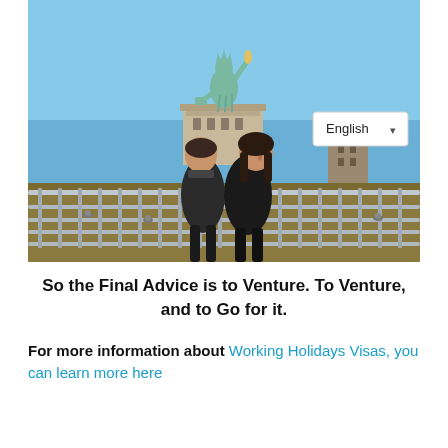[Figure (photo): Two people posing in front of the Statue of Liberty on Liberty Island. They are standing near metal railings with the statue's base and pedestal visible behind them, and a clear blue sky above. There is a language selector dropdown showing 'English' in the upper right of the photo area.]
So the Final Advice is to Venture. To Venture, and to Go for it.
For more information about Working Holidays Visas, you can learn more here